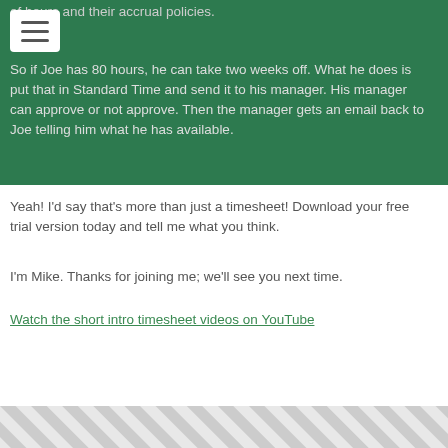of hours and their accrual policies.
So if Joe has 80 hours, he can take two weeks off. What he does is put that in Standard Time and send it to his manager. His manager can approve or not approve. Then the manager gets an email back to Joe telling him what he has available.
Yeah! I'd say that's more than just a timesheet! Download your free trial version today and tell me what you think.
I'm Mike. Thanks for joining me; we'll see you next time.
Watch the short intro timesheet videos on YouTube